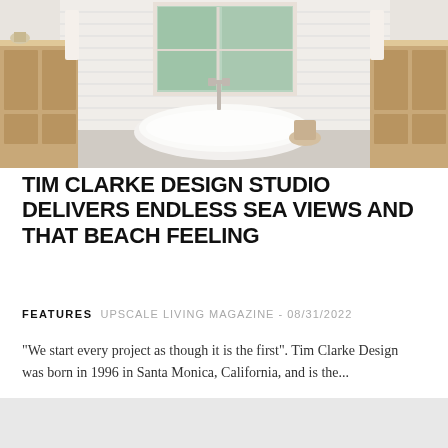[Figure (photo): Bright white bathroom with a freestanding oval bathtub in the center, shiplap white walls, large window with natural light, wood vanities on both sides, chrome faucet fixture, and a natural wood stool beside the tub.]
TIM CLARKE DESIGN STUDIO DELIVERS ENDLESS SEA VIEWS AND THAT BEACH FEELING
FEATURES   UPSCALE LIVING MAGAZINE - 08/31/2022
"We start every project as though it is the first". Tim Clarke Design was born in 1996 in Santa Monica, California, and is the...